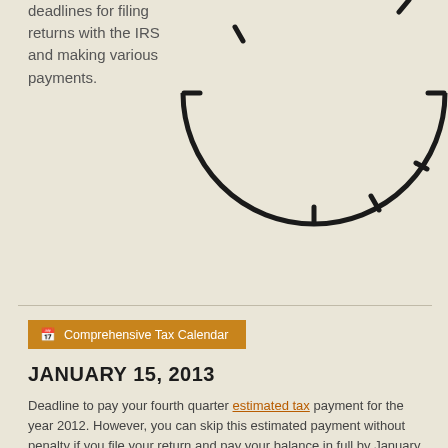deadlines for filing returns with the IRS and making various payments.
[Figure (illustration): Lower half of an analog clock face showing tick marks at various hour positions, with a thick circular border.]
Comprehensive Tax Calendar
JANUARY 15, 2013
Deadline to pay your fourth quarter estimated tax payment for the year 2012. However, you can skip this estimated payment without penalty if you file your return and pay your balance in full by January 31, 2013.
JANUARY 30, 2013
IRS begins accepting tax returns for processing. Some types of tax returns, however, will need to wait until late February to mid-March.